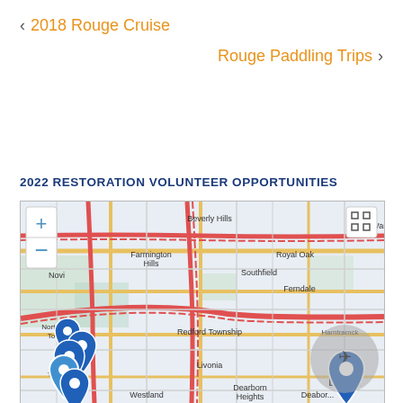< 2018 Rouge Cruise
Rouge Paddling Trips >
2022 RESTORATION VOLUNTEER OPPORTUNITIES
[Figure (map): Interactive map showing volunteer opportunity locations in the Detroit metro area including Northville Township, Plymouth Township, and Detroit. Map shows cities: Beverly Hills, Farmington Hills, Novi, Royal Oak, Southfield, Ferndale, Redford Township, Hamtramck, Livonia, Dearborn Heights, Dearborn, Detroit. Blue location pins mark volunteer sites in Northville/Plymouth area and Detroit area. Map controls include zoom in/out buttons and fullscreen toggle.]